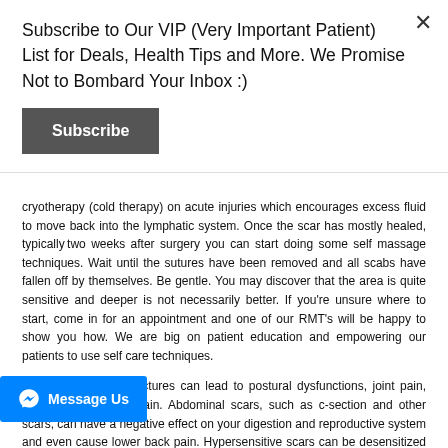Subscribe to Our VIP (Very Important Patient) List for Deals, Health Tips and More. We Promise Not to Bombard Your Inbox :)
Subscribe
cryotherapy (cold therapy) on acute injuries which encourages excess fluid to move back into the lymphatic system. Once the scar has mostly healed, typically two weeks after surgery you can start doing some self massage techniques. Wait until the sutures have been removed and all scabs have fallen off by themselves. Be gentle. You may discover that the area is quite sensitive and deeper is not necessarily better. If you're unsure where to start, come in for an appointment and one of our RMT's will be happy to show you how. We are big on patient education and empowering our patients to use self care techniques.
Adhesions and contractures can lead to postural dysfunctions, joint pain, tension and muscle pain. Abdominal scars, such as c-section and other scars, can have a negative effect on your digestion and reproductive system and even cause lower back pain. Hypersensitive scars can be desensitized with tactile stimulation.
Message Us